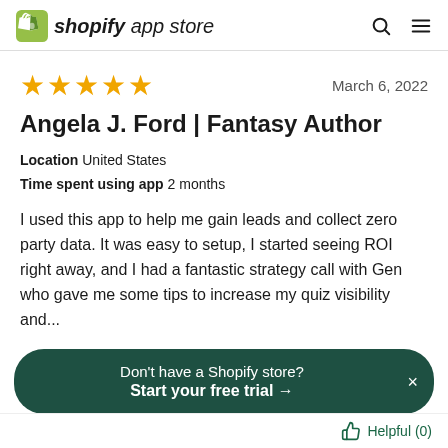shopify app store
★★★★★   March 6, 2022
Angela J. Ford | Fantasy Author
Location  United States
Time spent using app  2 months
I used this app to help me gain leads and collect zero party data. It was easy to setup, I started seeing ROI right away, and I had a fantastic strategy call with Gen who gave me some tips to increase my quiz visibility and...
Don't have a Shopify store? Start your free trial →
Helpful (0)